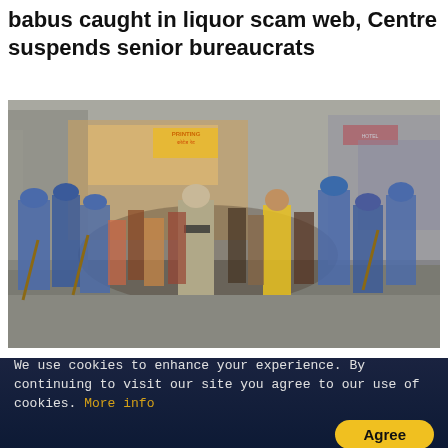babus caught in liquor scam web, Centre suspends senior bureaucrats
[Figure (photo): Police in blue camouflage uniforms controlling a crowd on a busy street, with shops and signboards visible in the background.]
Nitish government faces heat as Bihar official thrashes teaching job aspirant holding tricolour
We use cookies to enhance your experience. By continuing to visit our site you agree to our use of cookies. More info